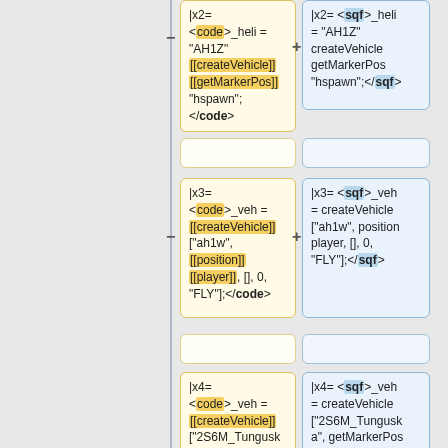|x2= <code>_heli = "AH1Z" [[createVehicle]] [[getMarkerPos]] "hspawn";</code>
|x2= <sqf>_heli = "AH1Z" createVehicle getMarkerPos "hspawn";</sqf>
|x3= <code>_veh = [[createVehicle]] ["ah1w", [[position]] [[player]], [], 0, "FLY"];</code>
|x3= <sqf>_veh = createVehicle ["ah1w", position player, [], 0, "FLY"];</sqf>
|x4= <code>_veh = [[createVehicle]] ["2S6M_Tungusk
|x4= <sqf>_veh = createVehicle ["2S6M_Tunguska", getMarkerPos